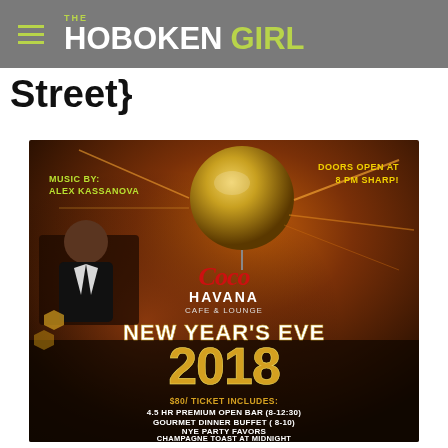THE HOBOKEN GIRL
Street}
[Figure (infographic): Event flyer for Coco Havana Cafe & Lounge New Year's Eve 2018 party. Features a disco ball, DJ Alex Kassanova photo, gold/orange dark background. Text: MUSIC BY: ALEX KASSANOVA, DOORS OPEN AT 8 PM SHARP!, Coco HAVANA CAFE & LOUNGE, NEW YEAR'S EVE 2018, $80/ TICKET INCLUDES: 4.5 HR PREMIUM OPEN BAR (8-12:30), GOURMET DINNER BUFFET (8-10), NYE PARTY FAVORS, CHAMPAGNE TOAST AT MIDNIGHT, WATCH THE BALL DROP LIVE!]